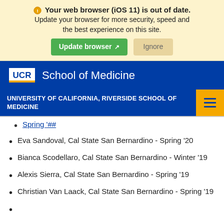Your web browser (iOS 11) is out of date. Update your browser for more security, speed and the best experience on this site.
[Figure (screenshot): UCR School of Medicine website header with blue background and UCR logo]
UNIVERSITY OF CALIFORNIA, RIVERSIDE SCHOOL OF MEDICINE
Eva Sandoval, Cal State San Bernardino - Spring '20
Bianca Scodellaro, Cal State San Bernardino - Winter '19
Alexis Sierra, Cal State San Bernardino - Spring '19
Christian Van Laack, Cal State San Bernardino - Spring '19